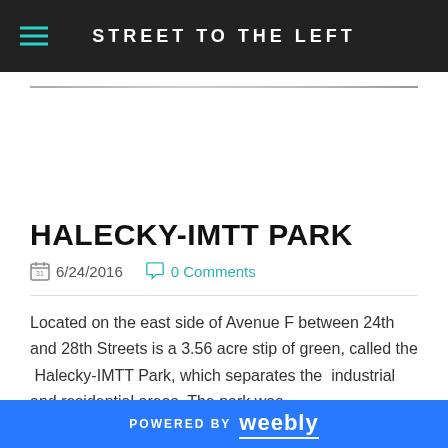STREET TO THE LEFT
HALECKY-IMTT PARK
6/24/2016   0 Comments
Located on the east side of Avenue F between 24th and 28th Streets is a 3.56 acre stip of green, called the Halecky-IMTT Park, which separates the industrial and residential areas. The park was
POWERED BY weebly